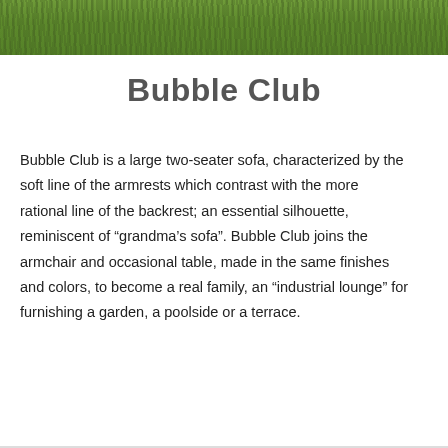[Figure (photo): Grass lawn photograph cropped at top of page]
Bubble Club
Bubble Club is a large two-seater sofa, characterized by the soft line of the armrests which contrast with the more rational line of the backrest; an essential silhouette, reminiscent of “grandma’s sofa”. Bubble Club joins the armchair and occasional table, made in the same finishes and colors, to become a real family, an “industrial lounge” for furnishing a garden, a poolside or a terrace.